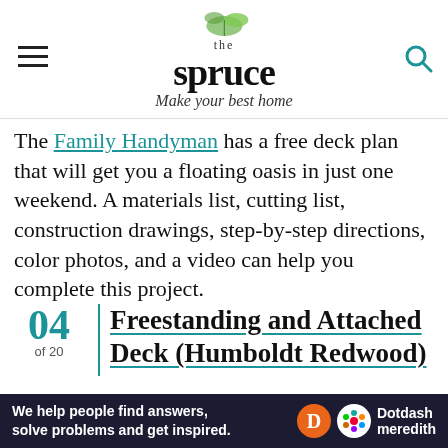the spruce — Make your best home
The Family Handyman has a free deck plan that will get you a floating oasis in just one weekend. A materials list, cutting list, construction drawings, step-by-step directions, color photos, and a video can help you complete this project.
04 of 20 | Freestanding and Attached Deck (Humboldt Redwood)
[Figure (illustration): Partial view of a wooden deck diagram/illustration showing angled decking boards]
[Figure (logo): Dotdash Meredith advertisement banner: 'We help people find answers, solve problems and get inspired.' with Dotdash Meredith logo]